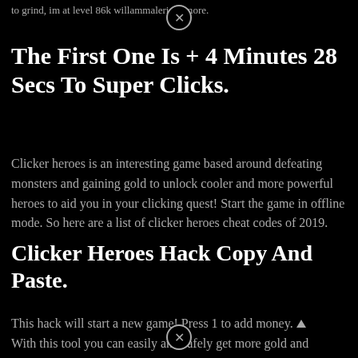to grind, im at level 86k willammalerich (more.
The First One Is + 4 Minutes 28 Secs To Super Clicks.
Clicker heroes is an interesting game based around defeating monsters and gaining gold to unlock cooler and more powerful heroes to aid you in your clicking quest! Start the game in offline mode. So here are a list of clicker heroes cheat codes of 2019.
Clicker Heroes Hack Copy And Paste.
This hack will start a new game! Press 1 to add money. With this tool you can easily and safely get more gold and other things in clicker hero…